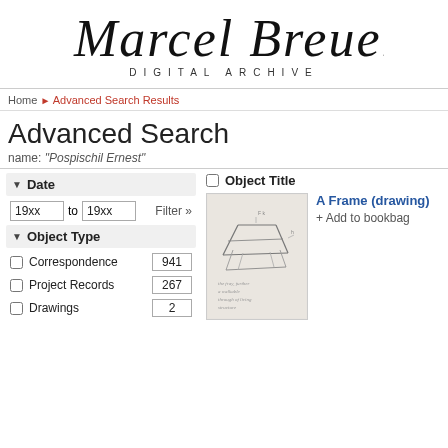Marcel Breuer DIGITAL ARCHIVE
Home > Advanced Search Results
Advanced Search
name: "Pospischil Ernest"
Date
19xx to 19xx Filter »
Object Type
Correspondence 941
Project Records 267
Drawings 2
Object Title
[Figure (illustration): Thumbnail sketch drawing of an A-Frame structure]
A Frame (drawing)
+ Add to bookbag